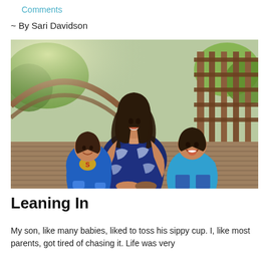Comments
~ By Sari Davidson
[Figure (photo): A woman with dark hair sitting on a wooden bridge deck with two young boys wearing blue shirts, smiling and laughing. A wooden arch bridge and green trees are visible in the background.]
Leaning In
My son, like many babies, liked to toss his sippy cup. I, like most parents, got tired of chasing it. Life was very